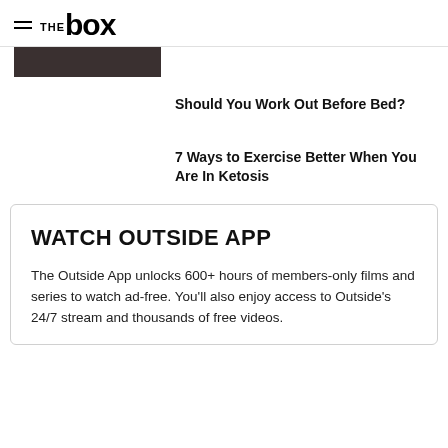≡ THE box
[Figure (photo): Dark/brown image strip at top left]
Should You Work Out Before Bed?
7 Ways to Exercise Better When You Are In Ketosis
WATCH OUTSIDE APP
The Outside App unlocks 600+ hours of members-only films and series to watch ad-free. You'll also enjoy access to Outside's 24/7 stream and thousands of free videos.